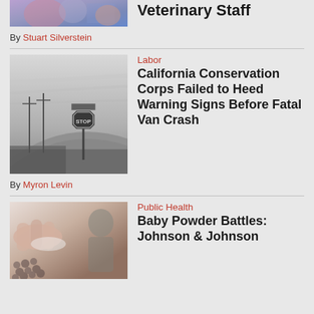[Figure (photo): Partial top image of veterinary staff, cropped]
Veterinary Staff
By Stuart Silverstein
[Figure (photo): Black and white photo of a rural road with a stop sign]
Labor
California Conservation Corps Failed to Heed Warning Signs Before Fatal Van Crash
By Myron Levin
[Figure (photo): Photo of baby powder bottle and person in background]
Public Health
Baby Powder Battles: Johnson & Johnson